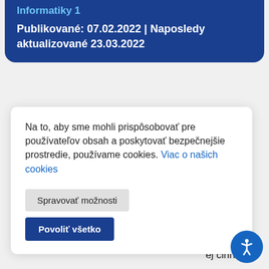Informatiky 1
Publikované: 07.02.2022 | Naposledy aktualizované 23.03.2022
Na to, aby sme mohli prispôsobovať pre používateľov obsah a poskytovať bezpečnejšie prostredie, používame cookies. Viac o našich cookies
Spravovať možnosti
Povoliť všetko
24.11.2021
ej činnosti
Správu o mimoškolskej činnosti 26.11.20...